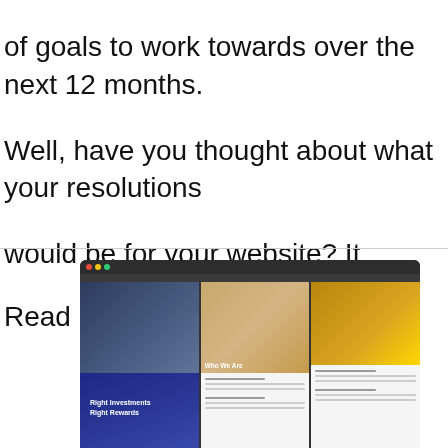of goals to work towards over the next 12 months. Well, have you thought about what your resolutions would be for your website? It ...
Read More »
[Figure (photo): A computer monitor displaying a web design software with multiple website layouts visible on screen. A green plant is visible in the lower left foreground.]